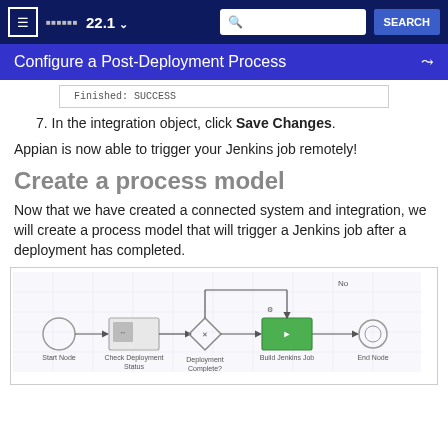≡  ··· 22.1 ∨  [Search]  SEARCH
Configure a Post-Deployment Process
[Figure (screenshot): Screenshot snippet showing text: Finished: SUCCESS]
7. In the integration object, click Save Changes.
Appian is now able to trigger your Jenkins job remotely!
Create a process model
Now that we have created a connected system and integration, we will create a process model that will trigger a Jenkins job after a deployment has completed.
[Figure (flowchart): Process model flowchart showing: Start Node → Check Deployment Status → Deployment Complete? (diamond) → Build Jenkins Job → End Node, with a 'No' loop back arrow from decision to Build Jenkins Job]